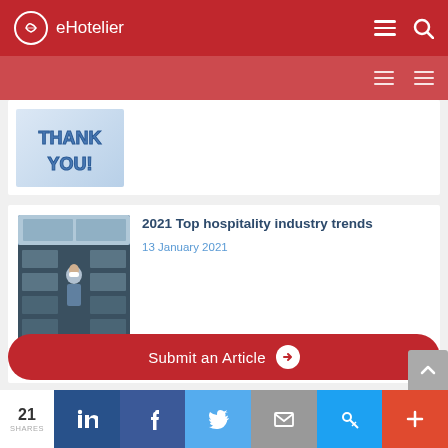eHotelier
[Figure (screenshot): THANK YOU! 3D blue text graphic]
2021 Top hospitality industry trends
13 January 2021
[Figure (photo): Flight attendant with mask serving passengers on airplane]
Submit an Article ➤
21 SHARES | LinkedIn | Facebook | Twitter | Email | Link | More